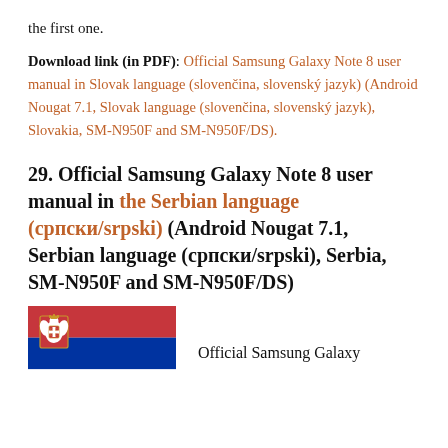the first one.
Download link (in PDF): Official Samsung Galaxy Note 8 user manual in Slovak language (slovenčina, slovenský jazyk) (Android Nougat 7.1, Slovak language (slovenčina, slovenský jazyk), Slovakia, SM-N950F and SM-N950F/DS).
29. Official Samsung Galaxy Note 8 user manual in the Serbian language (српски/srpski) (Android Nougat 7.1, Serbian language (српски/srpski), Serbia, SM-N950F and SM-N950F/DS)
[Figure (illustration): Serbian flag — horizontal tricolor of red, blue, and white with the Serbian coat of arms on the left side]
Official Samsung Galaxy